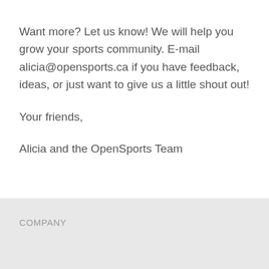Want more? Let us know! We will help you grow your sports community. E-mail alicia@opensports.ca if you have feedback, ideas, or just want to give us a little shout out!
Your friends,
Alicia and the OpenSports Team
COMPANY